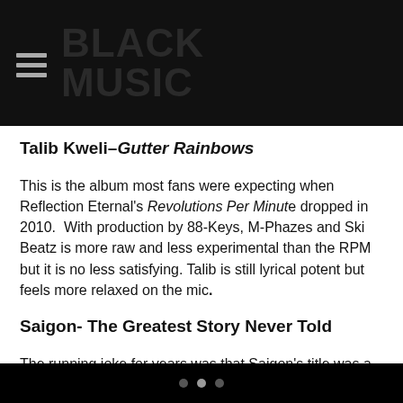BLACK MUSIC (site logo/header)
Talib Kweli–Gutter Rainbows
This is the album most fans were expecting when Reflection Eternal's Revolutions Per Minute dropped in 2010.  With production by 88-Keys, M-Phazes and Ski Beatz is more raw and less experimental than the RPM but it is no less satisfying. Talib is still lyrical potent but feels more relaxed on the mic.
Saigon- The Greatest Story Never Told
The running joke for years was that Saigon's title was a self-fulfilling prophecy. With every delay fans of this Just Blaze-produced  story thought it would never actually get told. But thankfully Saigon came through with the near flawless debut